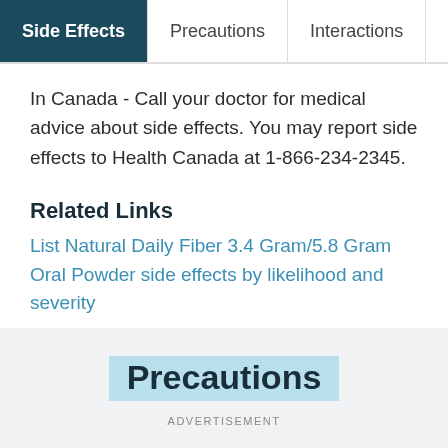Side Effects | Precautions | Interactions | Over...
In Canada - Call your doctor for medical advice about side effects. You may report side effects to Health Canada at 1-866-234-2345.
Related Links
List Natural Daily Fiber 3.4 Gram/5.8 Gram Oral Powder side effects by likelihood and severity
Precautions
ADVERTISEMENT